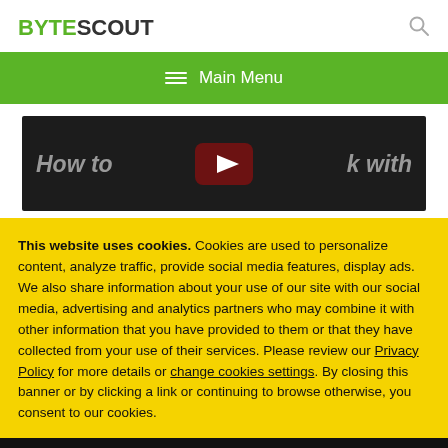BYTESCOUT
[Figure (screenshot): Green navigation bar with hamburger icon and 'Main Menu' text in white]
[Figure (screenshot): Dark video thumbnail showing 'How to [YouTube play button] k with' text overlay]
This website uses cookies. Cookies are used to personalize content, analyze traffic, provide social media features, display ads. We also share information about your use of our site with our social media, advertising and analytics partners who may combine it with other information that you have provided to them or that they have collected from your use of their services. Please review our Privacy Policy for more details or change cookies settings. By closing this banner or by clicking a link or continuing to browse otherwise, you consent to our cookies.
OK